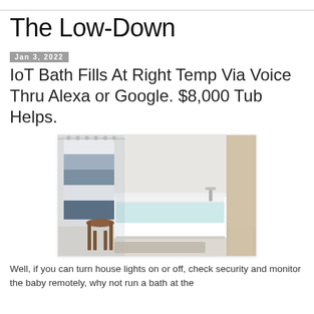The Low-Down
Jan 3, 2022
IoT Bath Fills At Right Temp Via Voice Thru Alexa or Google. $8,000 Tub Helps.
[Figure (photo): A modern bathroom with a white freestanding bathtub partially filled with water, a blue and white striped shower curtain on the left, a wooden stool, and a light tan curtain panel on the right side. A chrome faucet is visible on the tub.]
Well, if you can turn house lights on or off, check security and monitor the baby remotely, why not run a bath at the